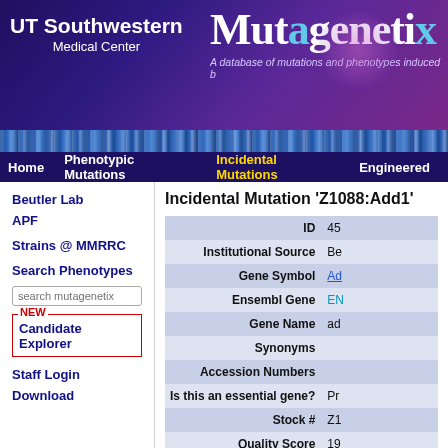[Figure (screenshot): UT Southwestern Medical Center logo with Mutagenetix title on purple gradient background]
Home  Phenotypic Mutations  Incidental Mutations  Engineered
Incidental Mutation 'Z1088:Add1'
| Field | Value |
| --- | --- |
| ID | 45 |
| Institutional Source | Be |
| Gene Symbol | Ad |
| Ensembl Gene | EN |
| Gene Name | ad |
| Synonyms |  |
| Accession Numbers |  |
| Is this an essential gene? | Pr |
| Stock # | Z1 |
| Quality Score | 19 |
Beutler Lab
APF
Strains @ MMRRC
Search Phenotypes
Candidate Explorer
Staff Login
Download